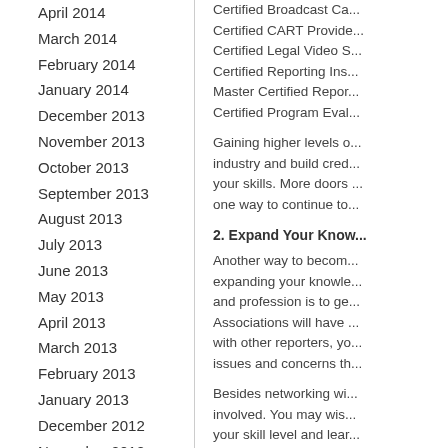April 2014
March 2014
February 2014
January 2014
December 2013
November 2013
October 2013
September 2013
August 2013
July 2013
June 2013
May 2013
April 2013
March 2013
February 2013
January 2013
December 2012
November 2012
October 2012
September 2012
Certified Broadcast Ca... Certified CART Provide... Certified Legal Video S... Certified Reporting Ins... Master Certified Repor... Certified Program Eval...
Gaining higher levels of certification helps you stay relevant in the industry and build credibility while keeping you accountable to sharpen your skills. More doors will open for you professionally, and it's one way to continue to...
2. Expand Your Know...
Another way to become a more successful court reporter is by expanding your knowledge base. One way to do this in your field and profession is to get involved in your local associations. Associations will have many resources available. By networking with other reporters, you can learn about the most pressing issues and concerns th...
Besides networking with other reporters, get more actively involved. You may wish to take continuing education courses to build your skill level and lear...